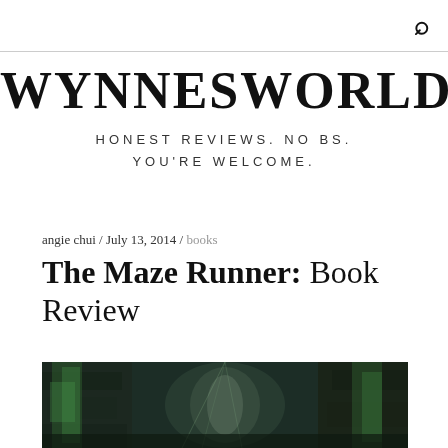🔍
WYNNESWORLD
HONEST REVIEWS. NO BS. YOU'RE WELCOME.
angie chui / July 13, 2014 / books
The Maze Runner: Book Review
[Figure (photo): A dark corridor scene from The Maze Runner showing tall stone/moss-covered walls with green moss or vines, a glowing light in the center background, creating an atmospheric maze setting.]